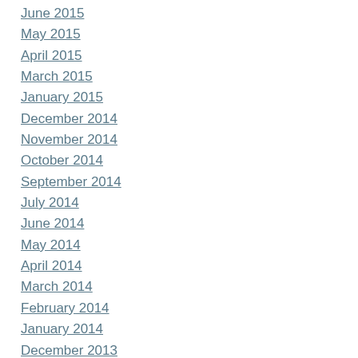June 2015
May 2015
April 2015
March 2015
January 2015
December 2014
November 2014
October 2014
September 2014
July 2014
June 2014
May 2014
April 2014
March 2014
February 2014
January 2014
December 2013
November 2013
October 2013